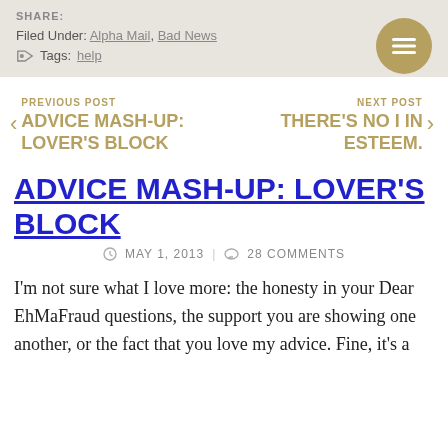SHARE:
Filed Under: Alpha Mail, Bad News
Tags: help
< PREVIOUS POST ADVICE MASH-UP: LOVER'S BLOCK
NEXT POST > THERE'S NO I IN ESTEEM.
ADVICE MASH-UP: LOVER'S BLOCK
MAY 1, 2013 | 28 COMMENTS
I'm not sure what I love more: the honesty in your Dear EhMaFraud questions, the support you are showing one another, or the fact that you love my advice. Fine, it's a